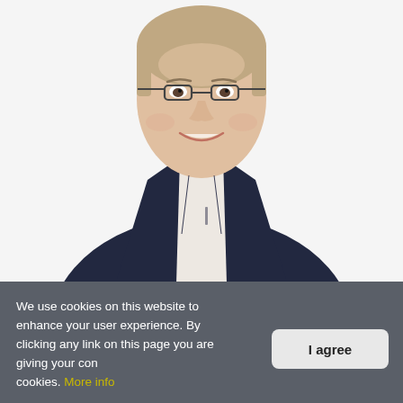[Figure (photo): Professional headshot of a smiling man wearing glasses and a dark navy blazer over a light shirt, photographed against a white background.]
We use cookies on this website to enhance your user experience. By clicking any link on this page you are giving your consent for us to set cookies. More info